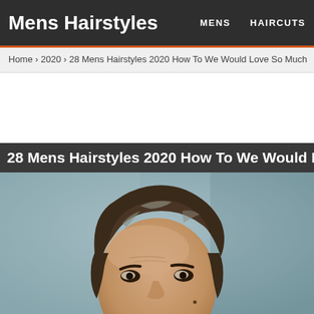Mens Hairstyles | MENS  HAIRCUTS
Home › 2020 › 28 Mens Hairstyles 2020 How To We Would Love So Much
28 Mens Hairstyles 2020 How To We Would Love So Mu
[Figure (photo): Close-up photo of a man with medium-length wavy brown hair, shot from slightly below, with a blurred gray-blue background. The man's face is visible from the eyebrows down.]